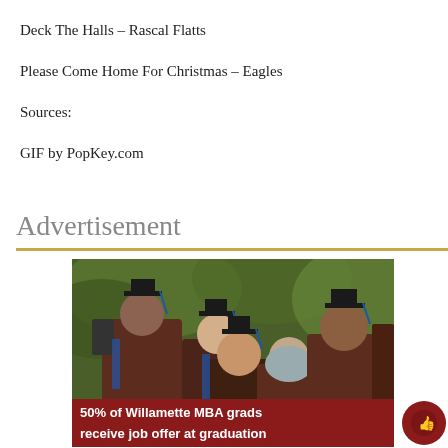Deck The Halls – Rascal Flatts
Please Come Home For Christmas – Eagles
Sources:
GIF by PopKey.com
Advertisement
[Figure (photo): Advertisement showing graduation students in caps and gowns taking a selfie, with a dark red banner reading '50% of Willamette MBA grads receive job offer at graduation']